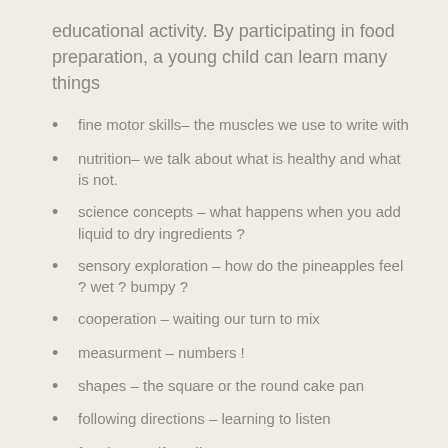educational activity. By participating in food preparation, a young child can learn many things
fine motor skills– the muscles we use to write with
nutrition– we talk about what is healthy and what is not.
science concepts – what happens when you add liquid to dry ingredients ?
sensory exploration – how do the pineapples feel ? wet ? bumpy ?
cooperation – waiting our turn to mix
measurment – numbers !
shapes – the square or the round cake pan
following directions – learning to listen
fractions  Half or all…